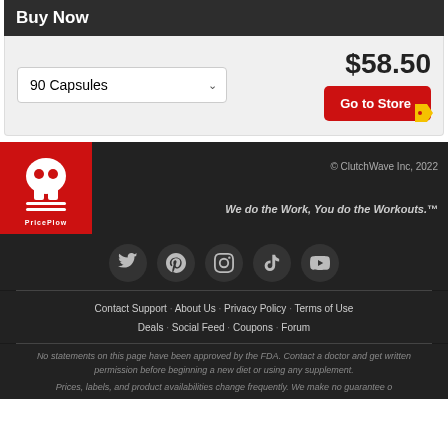Buy Now
90 Capsules
$58.50
Go to Store
[Figure (logo): PricePlow logo — white skull/robot icon on red background with PricePlow text]
© ClutchWave Inc, 2022
We do the Work, You do the Workouts.™
Contact Support · About Us · Privacy Policy · Terms of Use
Deals · Social Feed · Coupons · Forum
No statements on this page have been approved by the FDA. Contact a doctor and get written permission before beginning a new diet or using any supplement.
Prices, labels, and product availabilities change frequently. We make no guarantee o